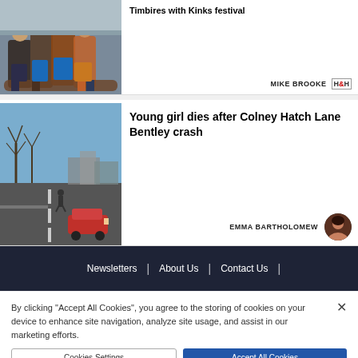[Figure (photo): Group of young people sitting outdoors]
Timbires with Kinks festival
MIKE BROOKE  H&H
[Figure (photo): Street view of Colney Hatch Lane, road junction with cars]
Young girl dies after Colney Hatch Lane Bentley crash
EMMA BARTHOLOMEW
Newsletters  |  About Us  |  Contact Us  |
By clicking “Accept All Cookies”, you agree to the storing of cookies on your device to enhance site navigation, analyze site usage, and assist in our marketing efforts.